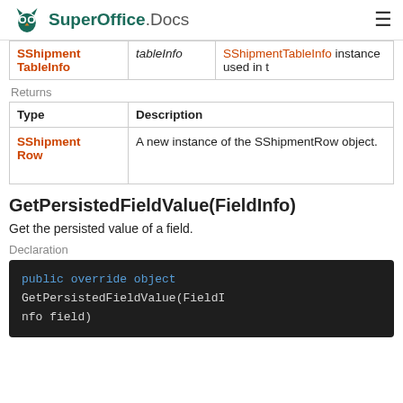SuperOffice.Docs
|  |  |  |
| --- | --- | --- |
| SShipmentTableInfo | tableInfo | SShipmentTableInfo instance used in t |
Returns
| Type | Description |
| --- | --- |
| SShipmentRow | A new instance of the SShipmentRow object. |
GetPersistedFieldValue(FieldInfo)
Get the persisted value of a field.
Declaration
public override object GetPersistedFieldValue(FieldInfo field)